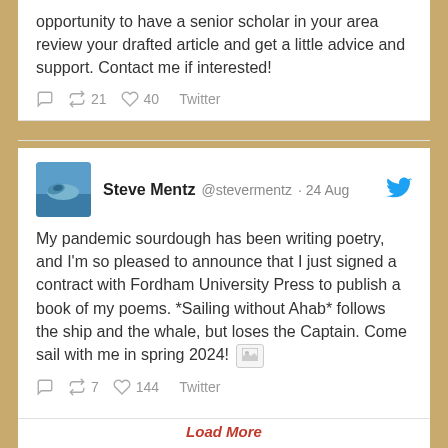opportunity to have a senior scholar in your area review your drafted article and get a little advice and support. Contact me if interested!
21 retweets 40 likes Twitter
Steve Mentz @stevermentz · 24 Aug
My pandemic sourdough has been writing poetry, and I'm so pleased to announce that I just signed a contract with Fordham University Press to publish a book of my poems. *Sailing without Ahab* follows the ship and the whale, but loses the Captain. Come sail with me in spring 2024!
7 retweets 144 likes Twitter
Load More